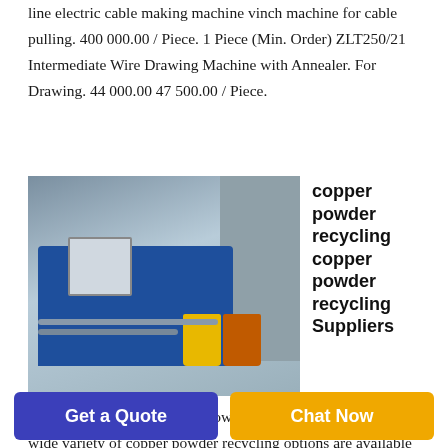line electric cable making machine vinch machine for cable pulling. 400 000.00 / Piece. 1 Piece (Min. Order) ZLT250/21 Intermediate Wire Drawing Machine with Annealer. For Drawing. 44 000.00 47 500.00 / Piece.
[Figure (photo): Photo of a blue industrial copper powder recycling machine with a control panel box on the side, yellow and orange buckets in front, and a metal shelving unit in the background.]
copper powder recycling copper powder recycling Suppliers
Alibaba offers 2 853 copper powder recycling products. A wide variety of copper powder recycling options are available to you such as local service location use and key selling points.
Get a Quote
Chat Now